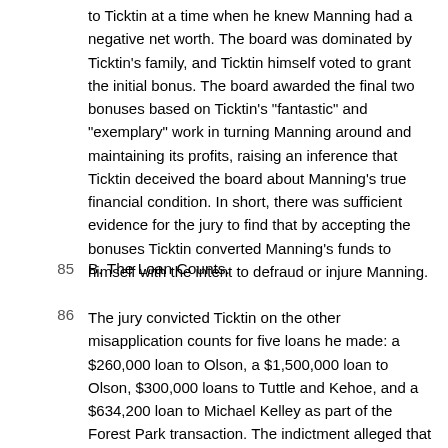to Ticktin at a time when he knew Manning had a negative net worth. The board was dominated by Ticktin's family, and Ticktin himself voted to grant the initial bonus. The board awarded the final two bonuses based on Ticktin's "fantastic" and "exemplary" work in turning Manning around and maintaining its profits, raising an inference that Ticktin deceived the board about Manning's true financial condition. In short, there was sufficient evidence for the jury to find that by accepting the bonuses Ticktin converted Manning's funds to himself with the intent to defraud or injure Manning.
B. The Loan Counts.
The jury convicted Ticktin on the other misapplication counts for five loans he made: a $260,000 loan to Olson, a $1,500,000 loan to Olson, $300,000 loans to Tuttle and Kehoe, and a $634,200 loan to Michael Kelley as part of the Forest Park transaction. The indictment alleged that the loans to Olson, Elliott, and Kehoe were unsecured or insufficiently secured. The indictment also alleged that Ticktin made the $1,500,000 loan to Olson for Ticktin's own benefit, and that Ticktin paid the proceeds of the loans to Tuttle and Kehoe over to Olson, and not the named borrowers. The indictment alleged that the loan to Kelley was secured by overvalued property, and that Kelley had not supplied a down payment for the loan.